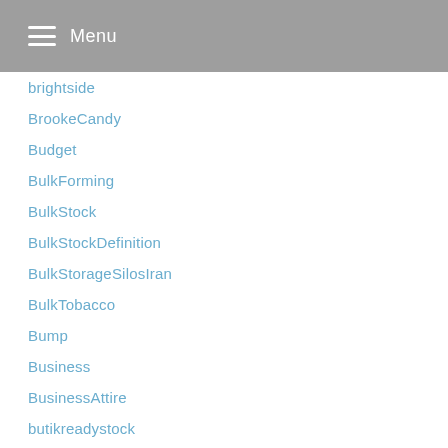Menu
brightside
BrookeCandy
Budget
BulkForming
BulkStock
BulkStockDefinition
BulkStorageSilosIran
BulkTobacco
Bump
Business
BusinessAttire
butikreadystock
BuyingGuides
Cabi
cajun
CakeStandWithGlass
Calendar